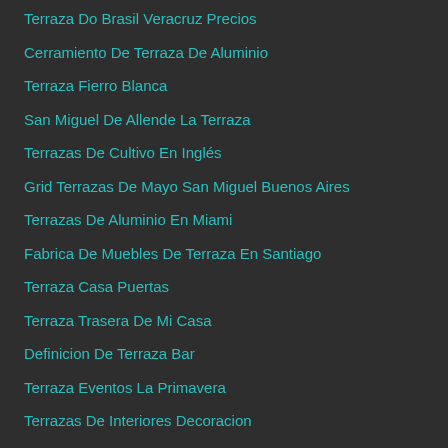Terraza Do Brasil Veracruz Precios
Cerramiento De Terraza De Aluminio
Terraza Fierro Blanca
San Miguel De Allende La Terraza
Terrazas De Cultivo En Inglés
Grid Terrazas De Mayo San Miguel Buenos Aires
Terrazas De Aluminio En Miami
Fabrica De Muebles De Terraza En Santiago
Terraza Casa Puertas
Terraza Trasera De Mi Casa
Definicion De Terraza Bar
Terraza Eventos La Primavera
Terrazas De Interiores Decoracion